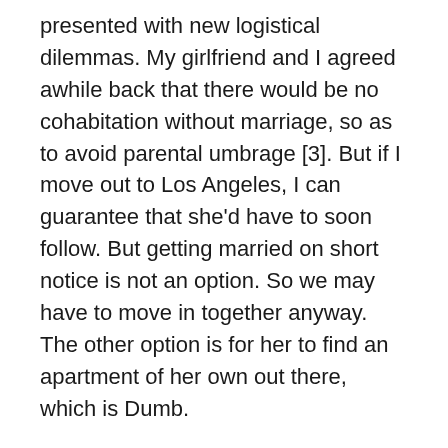presented with new logistical dilemmas. My girlfriend and I agreed awhile back that there would be no cohabitation without marriage, so as to avoid parental umbrage [3]. But if I move out to Los Angeles, I can guarantee that she'd have to soon follow. But getting married on short notice is not an option. So we may have to move in together anyway. The other option is for her to find an apartment of her own out there, which is Dumb.
Clearly, I'm getting ahead of myself. There are issues with the application agreement I'm wary of, but I don't think I'm so wary as to not apply. The three-page agreement seems at times to state that anything I submit as a Sample can be stolen from me, either conceptually or identically, and I agree not to sue. There's language that a good lawyer could argue protects me, but I don't know. I may want to have a friend's father look at it for me, or perhaps my